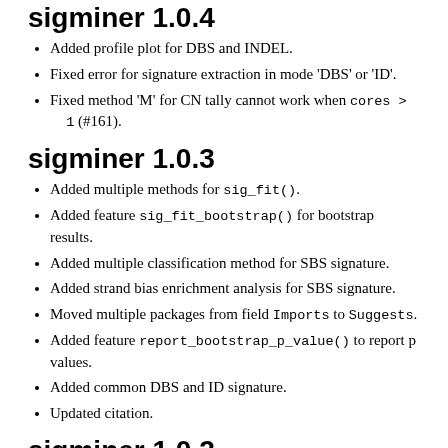sigminer 1.0.4
Added profile plot for DBS and INDEL.
Fixed error for signature extraction in mode 'DBS' or 'ID'.
Fixed method 'M' for CN tally cannot work when cores > 1 (#161).
sigminer 1.0.3
Added multiple methods for sig_fit().
Added feature sig_fit_bootstrap() for bootstrap results.
Added multiple classification method for SBS signature.
Added strand bias enrichment analysis for SBS signature.
Moved multiple packages from field Imports to Suggests.
Added feature report_bootstrap_p_value() to report p values.
Added common DBS and ID signature.
Updated citation.
sigminer 1.0.2
Added merged transcript info for hg19 and hg38 build, this is available at...